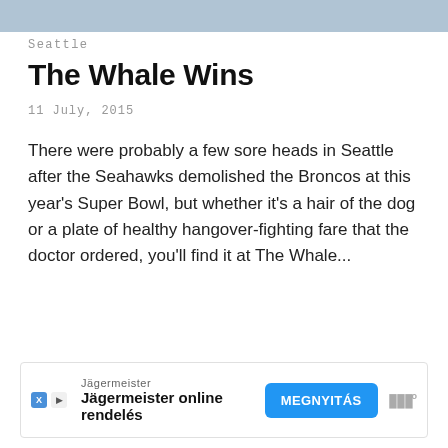[Figure (photo): Cropped image strip at top of page (partially visible photo)]
Seattle
The Whale Wins
11 July, 2015
There were probably a few sore heads in Seattle after the Seahawks demolished the Broncos at this year's Super Bowl, but whether it's a hair of the dog or a plate of healthy hangover-fighting fare that the doctor ordered, you'll find it at The Whale...
[Figure (other): Advertisement banner: Jägermeister online rendelés with MEGNYITÁS button and WW logo]